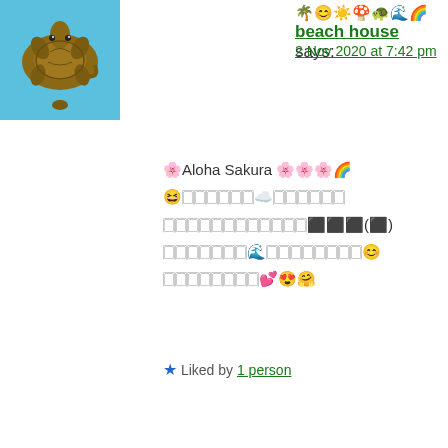[Figure (photo): Sea turtle swimming underwater, used as user avatar]
🌴😊☀️🍄🐢🌊🌈 beach house says:
2 Nov 2020 at 7:42 pm
🌸Aloha Sakura 🌸🌸🌸🌈
😆□□□□□□☁️□□□□□□
□□□□□□□□□□□□🔲🔲🔲(🔲)
□□□□□□□🌊□□□□□□□□□😊
□□□□□□□□💕😍🤗
⭐ Liked by 1 person
[Figure (illustration): Blue pixel art identicon avatar for sakura-isono]
sakura-isono says:
3 Nov 2020 at 12:25 am
□□□□□□□□□□□□□□✨
□□□□□□□□□❕